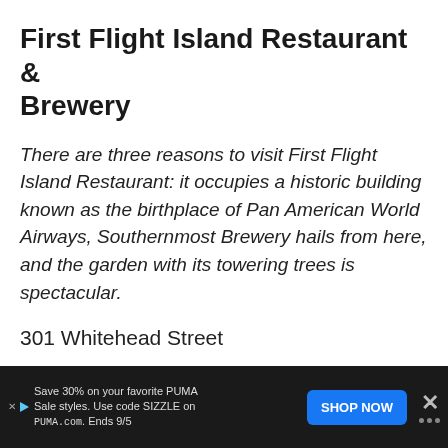First Flight Island Restaurant & Brewery
There are three reasons to visit First Flight Island Restaurant: it occupies a historic building known as the birthplace of Pan American World Airways, Southernmost Brewery hails from here, and the garden with its towering trees is spectacular.
301 Whitehead Street
Daily 4 -6:00 PM
$3.50 House Craft Brews, Half Off Select C…
[Figure (screenshot): Advertisement bar at bottom: Save 30% on your favorite PUMA Sale styles. Use code SIZZLE on PUMA.com. Ends 9/5 — with SHOP NOW button and close X]